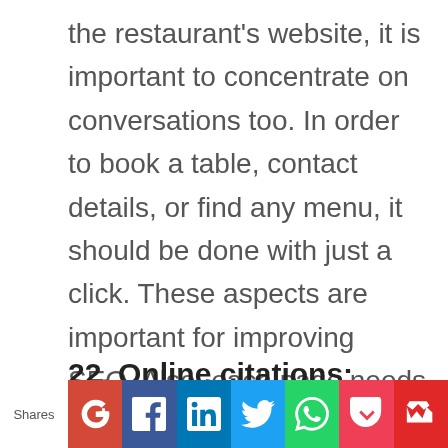the restaurant's website, it is important to concentrate on conversations too. In order to book a table, contact details, or find any menu, it should be done with just a click. These aspects are important for improving SEO. Also, each page needs to have a clear CTA. Potential sales will be lost if the browses the page and leaves it.
22. Online citations:
[Figure (other): Social sharing bar with Shares label and icons for Google+, Facebook, LinkedIn, Twitter, WhatsApp, Pocket, and Flipboard]